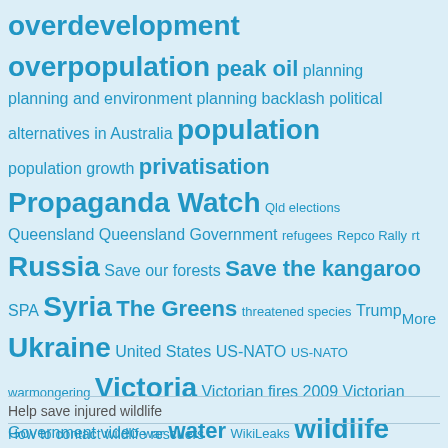[Figure (infographic): Tag cloud of topics in shades of blue on a light blue background. Tags include overdevelopment, overpopulation, peak oil, planning, planning and environment, planning backlash, political alternatives in Australia, population, population growth, privatisation, Propaganda Watch, Qld elections, Queensland, Queensland Government, refugees, Repco Rally, rt, Russia, Save our forests, Save the kangaroo, SPA, Syria, The Greens, threatened species, Trump, Ukraine, United States, US-NATO, US-NATO warmongering, Victoria, Victorian fires 2009, Victorian Government, video, war, water, WikiLeaks, wildlife, wildlife corridors. Font sizes vary by tag frequency/importance.]
More
Help save injured wildlife
How to contact wildlife rescuers